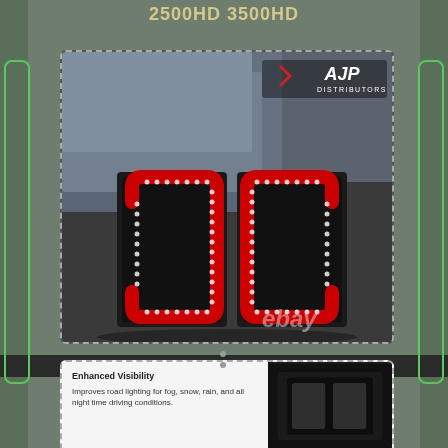2500HD 3500HD
[Figure (photo): Product photo of LED tail lights for 2500HD 3500HD trucks with red LED C-shape design, smoked lens, shown from rear of truck. AJP Distributors logo visible. eBay watermark present.]
[Figure (photo): Detail inset showing 'Enhanced Visibility' feature text alongside a close-up of the smoked LED tail light housing. Text reads: 'Improves road lighting for fog, snow, rain, and all night time driving conditions.']